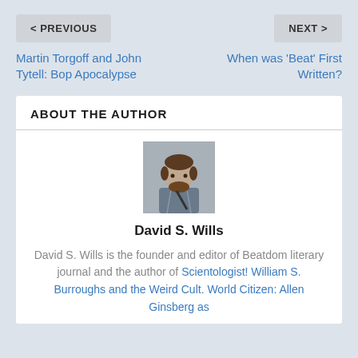< PREVIOUS
NEXT >
Martin Torgoff and John Tytell: Bop Apocalypse
When was ‘Beat’ First Written?
ABOUT THE AUTHOR
[Figure (photo): Portrait photo of David S. Wills, a man with curly dark hair and beard wearing a plaid shirt with a bag strap visible]
David S. Wills
David S. Wills is the founder and editor of Beatdom literary journal and the author of Scientologist! William S. Burroughs and the Weird Cult. World Citizen: Allen Ginsberg as